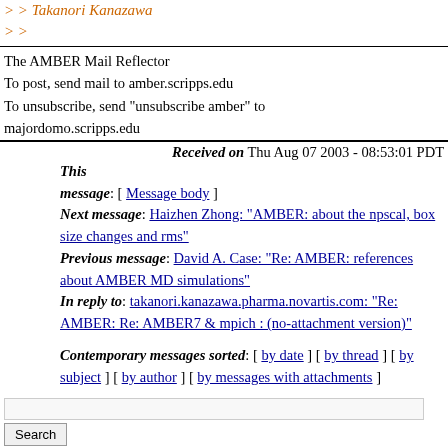> > Takanori Kanazawa
> >
The AMBER Mail Reflector
To post, send mail to amber.scripps.edu
To unsubscribe, send "unsubscribe amber" to majordomo.scripps.edu
Received on Thu Aug 07 2003 - 08:53:01 PDT
This message: [ Message body ]
Next message: Haizhen Zhong: "AMBER: about the npscal, box size changes and rms"
Previous message: David A. Case: "Re: AMBER: references about AMBER MD simulations"
In reply to: takanori.kanazawa.pharma.novartis.com: "Re: AMBER: Re: AMBER7 & mpich : (no-attachment version)"
Contemporary messages sorted: [ by date ] [ by thread ] [ by subject ] [ by author ] [ by messages with attachments ]
[Figure (other): Google Custom Search box with Search button]